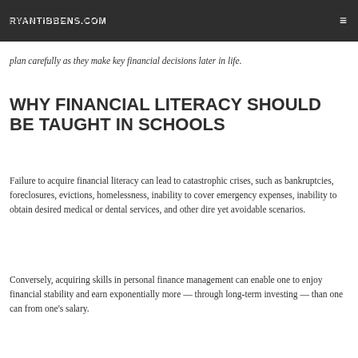RYANTIBBENS.COM
part of any young person's education. By learning how financial literacy works, people will understand how, and why, to plan carefully as they make key financial decisions later in life.
WHY FINANCIAL LITERACY SHOULD BE TAUGHT IN SCHOOLS
Failure to acquire financial literacy can lead to catastrophic crises, such as bankruptcies, foreclosures, evictions, homelessness, inability to cover emergency expenses, inability to obtain desired medical or dental services, and other dire yet avoidable scenarios.
Conversely, acquiring skills in personal finance management can enable one to enjoy financial stability and earn exponentially more — through long-term investing — than one can from one's salary.